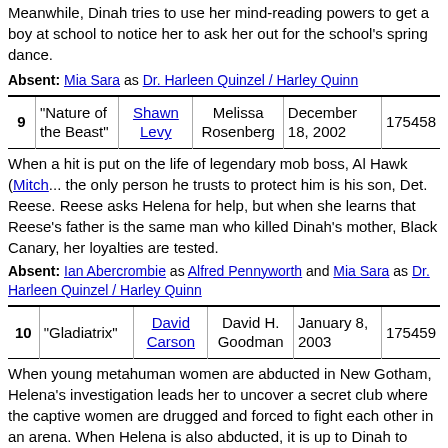Meanwhile, Dinah tries to use her mind-reading powers to get a boy at school to notice her to ask her out for the school's spring dance.
Absent: Mia Sara as Dr. Harleen Quinzel / Harley Quinn
| # | Title | Director | Writer | Air Date | Code |
| --- | --- | --- | --- | --- | --- |
| 9 | "Nature of the Beast" | Shawn Levy | Melissa Rosenberg | December 18, 2002 | 175458 |
When a hit is put on the life of legendary mob boss, Al Hawk (Mitch...), the only person he trusts to protect him is his son, Det. Reese. Reese asks Helena for help, but when she learns that Reese's father is the same man who killed Dinah's mother, Black Canary, her loyalties are tested.
Absent: Ian Abercrombie as Alfred Pennyworth and Mia Sara as Dr. Harleen Quinzel / Harley Quinn
| # | Title | Director | Writer | Air Date | Code |
| --- | --- | --- | --- | --- | --- |
| 10 | "Gladiatrix" | David Carson | David H. Goodman | January 8, 2003 | 175459 |
When young metahuman women are abducted in New Gotham, Helena's investigation leads her to uncover a secret club where the captive women are drugged and forced to fight each other in an arena. When Helena is also abducted, it is up to Dinah to rescue her with Reese's help.
Absent: Mia Sara as Dr. Harleen Quinzel / Harley Quinn
| # | Title | Director | Writer | Air Date | Code |
| --- | --- | --- | --- | --- | --- |
| 11 | "Reunion" | Chris Long | Edward Kitsis & Adam... | January 8, 2003 | 175460 |